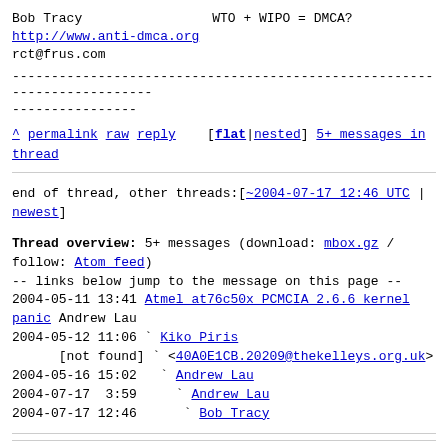Bob Tracy    WTO + WIPO = DMCA?
http://www.anti-dmca.org
rct@frus.com
--------------------------------------------------------------------------------
----------------
^ permalink raw reply  [flat|nested] 5+ messages in thread
end of thread, other threads:[~2004-07-17 12:46 UTC | newest]
Thread overview: 5+ messages (download: mbox.gz / follow: Atom feed)
-- links below jump to the message on this page --
2004-05-11 13:41 Atmel at76c50x PCMCIA 2.6.6 kernel panic Andrew Lau
2004-05-12 11:06 ` Kiko Piris
      [not found] ` <40A0E1CB.20209@thekelleys.org.uk>
2004-05-16 15:02   ` Andrew Lau
2004-07-17  3:59     ` Andrew Lau
2004-07-17 12:46      ` Bob Tracy
This is a public inbox, see mirroring instructions
for how to clone and mirror all data and code used for this inbox;
as well as URLs for NNTP newsgroup(s).